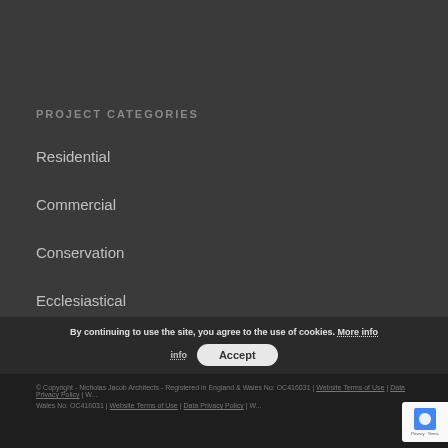PROJECT CATEGORIES
Residential
Commercial
Conservation
Ecclesiastical
Interior
By continuing to use the site, you agree to the use of cookies. More info Accept
© Copyright - Nicholas Jacob Architects - Registered in England & Wales No: OC416031 | Website Terms of Use | Data Privacy Policy | Website...